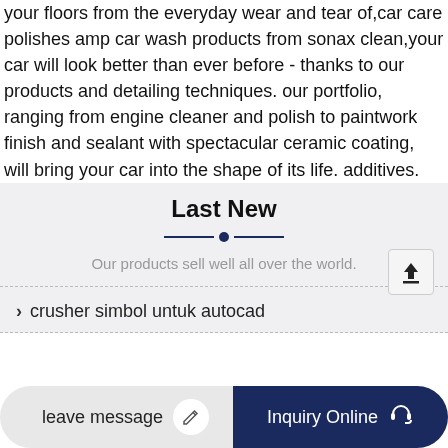your floors from the everyday wear and tear of,car care polishes amp car wash products from sonax clean,your car will look better than ever before - thanks to our products and detailing techniques. our portfolio, ranging from engine cleaner and polish to paintwork finish and sealant with spectacular ceramic coating, will bring your car into the shape of its life. additives.
Last New
Our products sell well all over the world.
crusher simbol untuk autocad
leave message
Inquiry Online